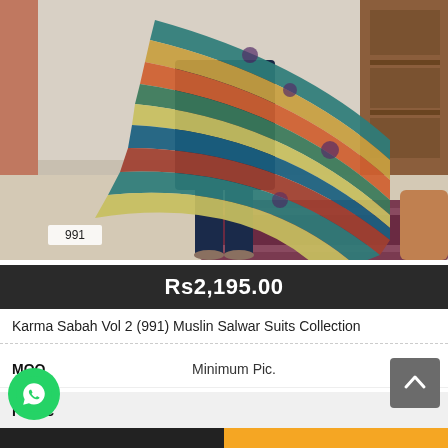[Figure (photo): A woman wearing a navy blue salwar suit with a multicolored striped dupatta with floral embroidery, standing in a living room setting with wooden furniture and a patterned rug. A label showing '991' is visible at the bottom left of the image.]
Rs2,195.00
Karma Sabah Vol 2 (991) Muslin Salwar Suits Collection
MOQ    Minimum Pic.
Fabric